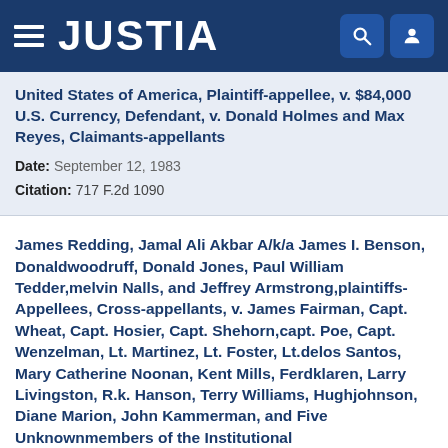JUSTIA
United States of America, Plaintiff-appellee, v. $84,000 U.S. Currency, Defendant, v. Donald Holmes and Max Reyes, Claimants-appellants
Date: September 12, 1983
Citation: 717 F.2d 1090
James Redding, Jamal Ali Akbar A/k/a James I. Benson, Donaldwoodruff, Donald Jones, Paul William Tedder,melvin Nalls, and Jeffrey Armstrong,plaintiffs-Appellees, Cross-appellants, v. James Fairman, Capt. Wheat, Capt. Hosier, Capt. Shehorn,capt. Poe, Capt. Wenzelman, Lt. Martinez, Lt. Foster, Lt.delos Santos, Mary Catherine Noonan, Kent Mills, Ferdklaren, Larry Livingston, R.k. Hanson, Terry Williams, Hughjohnson, Diane Marion, John Kammerman, and Five Unknownmembers of the Institutional